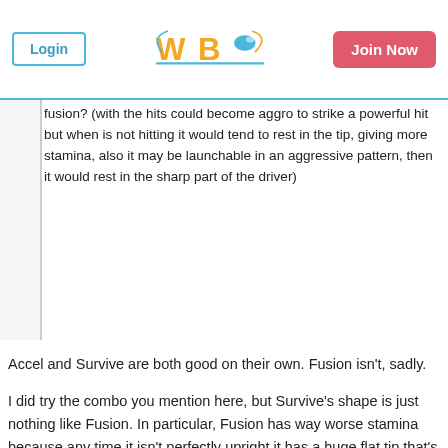Login | WBO Logo | Join Now
fusion? (with the hits could become aggro to strike a powerful hit but when is not hitting it would tend to rest in the tip, giving more stamina, also it may be launchable in an aggressive pattern, then it would rest in the sharp part of the driver)
Accel and Survive are both good on their own. Fusion isn't, sadly.
I did try the combo you mention here, but Survive's shape is just nothing like Fusion. In particular, Fusion has way worse stamina because any time it isn't perfectly upright it has a huge flat tip that's draining its spin without really giving a gameplay advantage back in return.
The success of Valkyrie X Survive/Claw comes from maintaining a high spin speed for as long as possible — thereby maximizing your chances of triggering a Burst — and by wobbling late in the match, giving Valkyrie the opportunity to essentially uppercut the opposing Layer